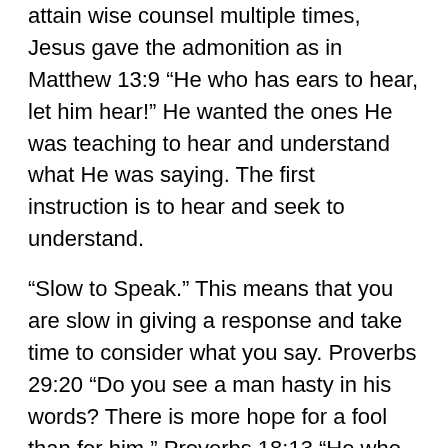attain wise counsel multiple times, Jesus gave the admonition as in Matthew 13:9 “He who has ears to hear, let him hear!”  He wanted the ones He was teaching to hear and understand what He was saying.  The first instruction is to hear and seek to understand.
“Slow to Speak.”  This means that you are slow in giving a response and take time to consider what you say.  Proverbs 29:20 “Do you see a man hasty in his words?  There is more hope for a fool than for him.”  Proverbs 18:13 “He who answers a matter before he hears it, it is folly and shame to him.”  Here is a way to ensure that you correctly hear the other person.  Rather than immediately formulating an answer to what you think the other person is saying, “Reflect or rephrase.”